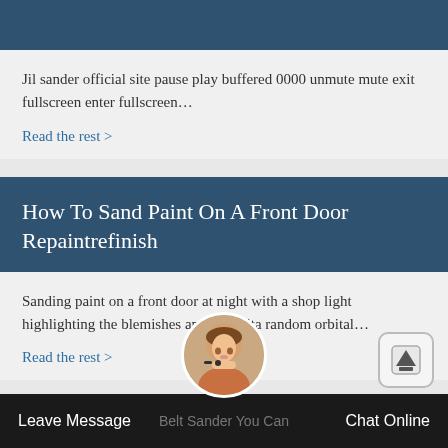[Figure (other): Dark blue header bar at top of page]
Jil sander official site pause play buffered 0000 unmute mute exit fullscreen enter fullscreen…
Read the rest >
How To Sand Paint On A Front Door Repaintrefinish
Sanding paint on a front door at night with a shop light highlighting the blemishes and a makita random orbital…
Read the rest >
[Figure (photo): Circular avatar photo of a woman with headset (customer service agent)]
[Figure (other): Scroll-to-top button with upward arrow icon]
Leave Message   Belt Sander You Can   Chat Online